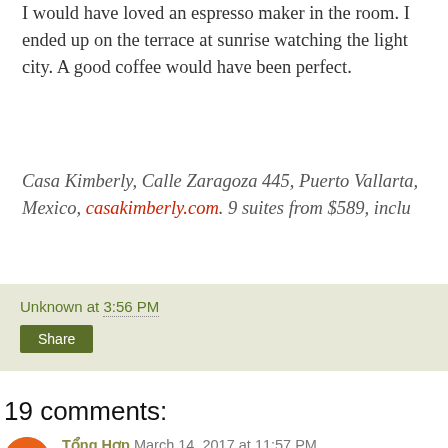I would have loved an espresso maker in the room. I ended up on the terrace at sunrise watching the light city. A good coffee would have been perfect.
Casa Kimberly, Calle Zaragoza 445, Puerto Vallarta, Mexico, casakimberly.com. 9 suites from $589, inclu
Unknown at 3:56 PM
Share
19 comments:
Tổng Hợp March 14, 2017 at 11:57 PM
Bạn đang đi tìm một nơi van chuyen hang di uc. Bạn muốn sử